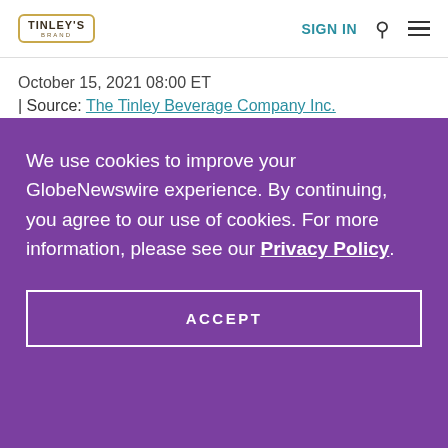[Figure (logo): Tinley's Brand logo in a hexagon-style border]
SIGN IN  🔍  ☰
October 15, 2021 08:00 ET
| Source: The Tinley Beverage Company Inc.
We use cookies to improve your GlobeNewswire experience. By continuing, you agree to our use of cookies. For more information, please see our Privacy Policy.
ACCEPT